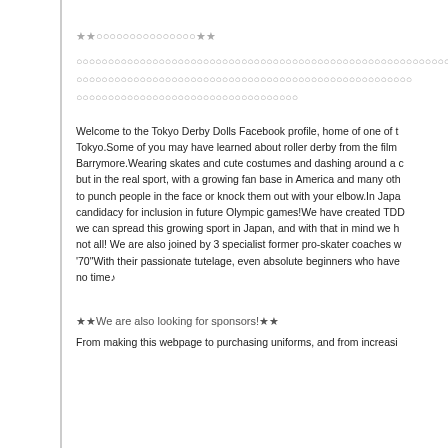★★ ○○○○○○○○○○○○○○○ ★★
○○○○○○○○○○○○○○○○○○○○○○○○○○○○○○○○○○○○○○○○○○○○○○○○○○○○○○○○○○○○○○○○○○○○○○○○○○○○○○○○○○○○○○○○○○○○○○○○
○○○○○○○○○○○○○○○○○○○○○○○○○○○○○○○○○○○○○○○○○○○○○○○○○○○
○○○○○○○○○○○○○○○○○○○○○○○○○○○○○○○○○○○
Welcome to the Tokyo Derby Dolls Facebook profile, home of one of the leading roller derby leagues in Tokyo.Some of you may have learned about roller derby from the film 'Whip It' with Drew Barrymore.Wearing skates and cute costumes and dashing around a circuit may sound glamorous, but in the real sport, with a growing fan base in America and many other countries, it is forbidden to punch people in the face or knock them out with your elbow.In Japan, roller derby is even a candidacy for inclusion in future Olympic games!We have created TDD in the hopes that we can spread this growing sport in Japan, and with that in mind we have... But that's not all! We are also joined by 3 specialist former pro-skater coaches who were active in the '70"With their passionate tutelage, even absolute beginners who have never skated can skate in no time♪
★★We are also looking for sponsors!★★
From making this webpage to purchasing uniforms, and from increasing